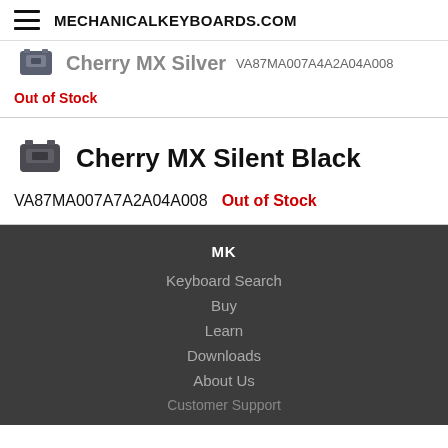MECHANICALKEYBOARDS.COM
Cherry MX Silver  VA87MA007A4A2A04A008  Out of Stock
Cherry MX Silent Black  VA87MA007A7A2A04A008  Out of Stock
MK
Keyboard Search
Buy
Learn
Downloads
About Us
Customer Support